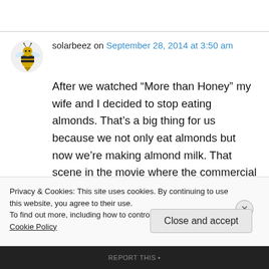solarbeez on September 28, 2014 at 3:50 am
After we watched “More than Honey” my wife and I decided to stop eating almonds. That’s a big thing for us because we not only eat almonds but now we’re making almond milk. That scene in the movie where the commercial beekeeper
Privacy & Cookies: This site uses cookies. By continuing to use this website, you agree to their use.
To find out more, including how to control cookies, see here: Cookie Policy
Close and accept